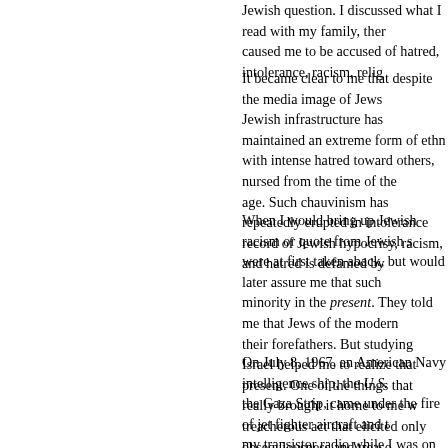Jewish question. I discussed what I read with my family, thereby caused me to be accused of hatred, intolerance, racism, relig
It became clear to me that despite the media image of Jews Jewish infrastructure has maintained an extreme form of eth with intense hatred toward others, nursed from the time of th age. Such chauvinism has repeatedly erupted in intolerance record of Jewish hypocrisy, racism, and hatred is defamed by
When I would bring up Jewish racism or quote from Jewish s were at first taken aback, but would later assure me that suc minority in the present. They told me that Jews of the modern their forefathers. But studying Israel helped me to realize tha present. One of the things that really brought it home to me w treacherous act that elicited only obsequiousness and treaso
On July 8, 1967, an American Navy intelligence ship, the U.S the Gaza Strip, came under the fire of jet fighter aircraft and my transistor radio while I was on my summer job, scraping Lakeview section. The attack occurred during the Israeli-Arab Israel. The first news accounts did not identify the attacking p supremely brutal and stupid attack, had struck a U.S. vessel military. A few elected officials had already begun to call for i
In spite of my growing knowledge of the pernicious nature of pouring out. I became angry at Egypt for daring to attack an A filter in that it was the Israelis who had attacked the American dead. The official excuse was that the Israelis had mistaken weeks, a great deal of evidence emerged revealing that the a the U.S.S. Liberty and the 171 American casualties had drop